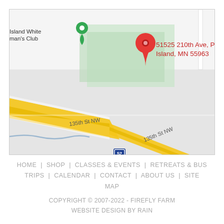[Figure (map): Google Maps screenshot showing 51525 210th Ave, Pine Island, MN 55963 with a red location pin, roads including 135th St NW and US-52 highway, and a green area labeled 'Island White [Wo]man's Club' with a green pin.]
HOME  |  SHOP  |  CLASSES & EVENTS  |  RETREATS & BUS TRIPS  |  CALENDAR  |  CONTACT  |  ABOUT US  |  SITE MAP
COPYRIGHT © 2007-2022 - FIREFLY FARM
WEBSITE DESIGN BY RAIN